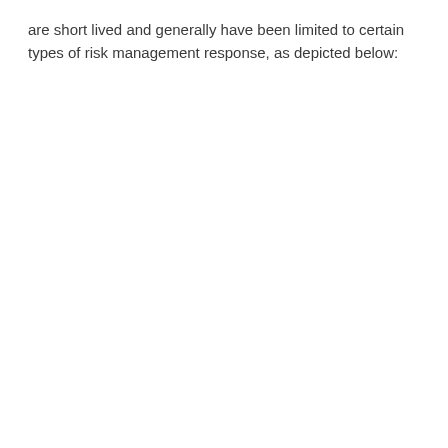are short lived and generally have been limited to certain types of risk management response, as depicted below: